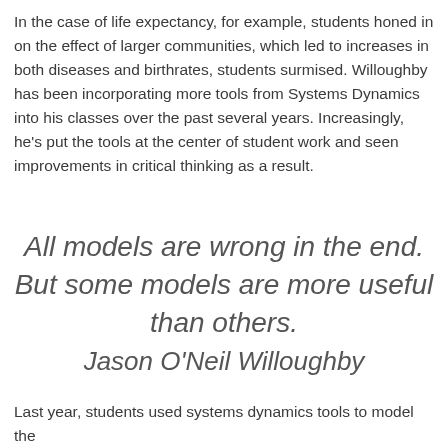In the case of life expectancy, for example, students honed in on the effect of larger communities, which led to increases in both diseases and birthrates, students surmised. Willoughby has been incorporating more tools from Systems Dynamics into his classes over the past several years. Increasingly, he's put the tools at the center of student work and seen improvements in critical thinking as a result.
All models are wrong in the end. But some models are more useful than others. Jason O'Neil Willoughby
Last year, students used systems dynamics tools to model the